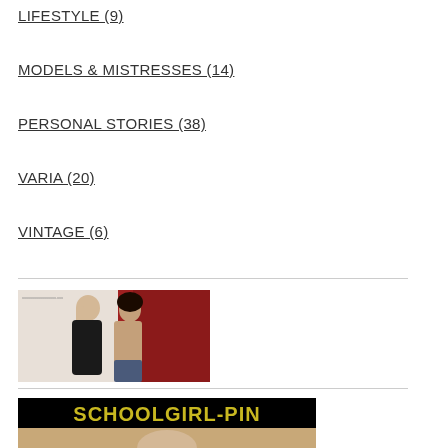LIFESTYLE (9)
MODELS & MISTRESSES (14)
PERSONAL STORIES (38)
VARIA (20)
VINTAGE (6)
[Figure (photo): Two people posing together in front of a red curtain backdrop]
[Figure (photo): Banner image with text SCHOOLGIRL-PIN on black background with yellow lettering, partial image below]